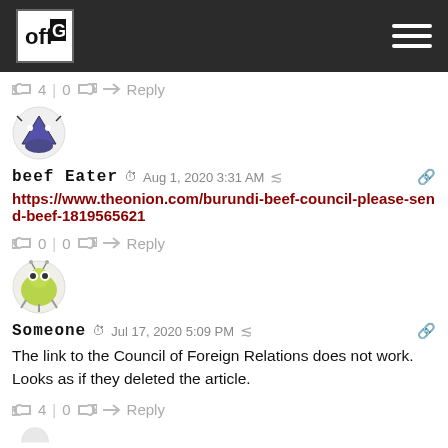OffG logo and navigation
👍 4 | 0 👎 → Reply
[Figure (illustration): Circular avatar with a bee/pyramid character illustration]
beef Eater  Aug 1, 2020 3:31 AM
https://www.theonion.com/burundi-beef-council-please-send-beef-1819565621
👍 0 | 0 👎 → Reply
[Figure (illustration): Circular avatar with a small green alien monster illustration]
Someone  Jul 17, 2020 5:09 PM
The link to the Council of Foreign Relations does not work. Looks as if they deleted the article.
👍 4 | 0 👎 → Reply
[Figure (illustration): Partial circular avatar at bottom]